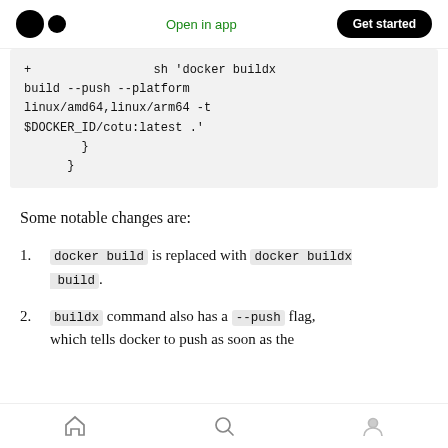Open in app | Get started
+                 sh 'docker buildx build --push --platform linux/amd64,linux/arm64 -t $DOCKER_ID/cotu:latest .'
        }
      }
Some notable changes are:
1. docker build is replaced with docker buildx build.
2. buildx command also has a --push flag, which tells docker to push as soon as the
Home | Search | Profile